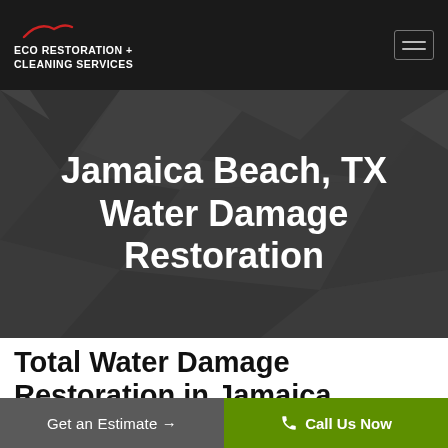ECO RESTORATION + CLEANING SERVICES
Jamaica Beach, TX Water Damage Restoration
Total Water Damage Restoration in Jamaica Beach, TX
Get an Estimate →
Call Us Now